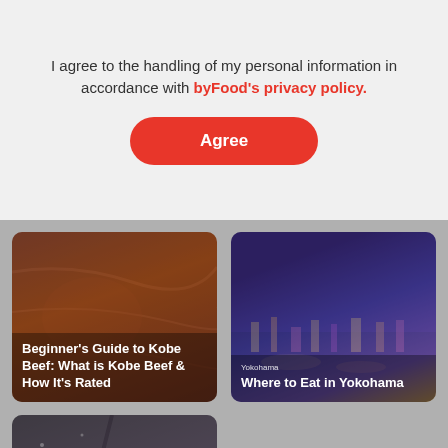I agree to the handling of my personal information in accordance with byFood's privacy policy.
[Figure (screenshot): Red rounded button labeled 'Agree']
[Figure (photo): Card image: Beginner's Guide to Kobe Beef: What is Kobe Beef & How It's Rated]
[Figure (photo): Card image: Yokohama - Where to Eat in Yokohama]
[Figure (photo): Card image: Tokyo - 8 Warming Japanese Foods for Winter in Tokyo]